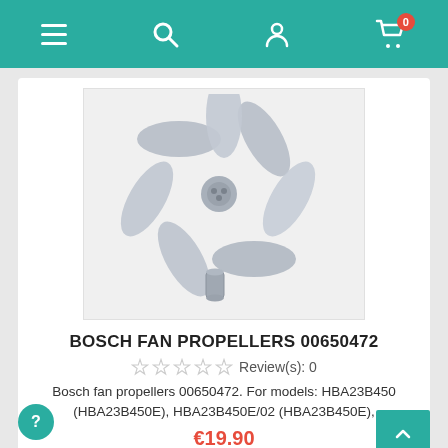Navigation bar with hamburger menu, search, account, and cart (0 items)
[Figure (photo): A silver/grey Bosch fan propeller with 7 blades and a small cylindrical metal adapter piece below it, on a white background.]
BOSCH FAN PROPELLERS 00650472
Review(s): 0
Bosch fan propellers 00650472. For models: HBA23B450 (HBA23B450E), HBA23B450E/02 (HBA23B450E),
€19.90